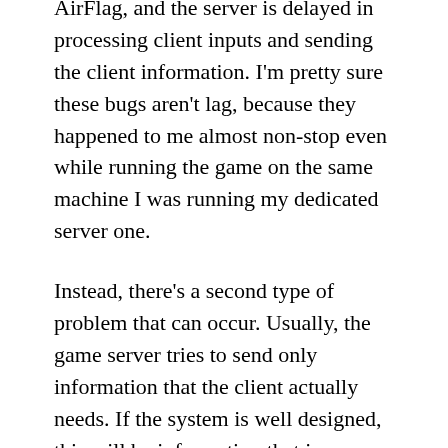AirFlag, and the server is delayed in processing client inputs and sending the client information. I'm pretty sure these bugs aren't lag, because they happened to me almost non-stop even while running the game on the same machine I was running my dedicated server one.
Instead, there's a second type of problem that can occur. Usually, the game server tries to send only information that the client actually needs. If the system is well designed, this will be information that is relevant to the player. If the system is not well designed, it might not do that quite as fast, or it might not refresh certain information at the rate that might be desirable. For example, loading in that the